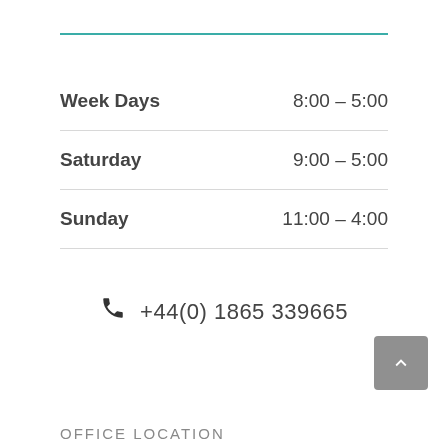| Day | Hours |
| --- | --- |
| Week Days | 8:00 – 5:00 |
| Saturday | 9:00 – 5:00 |
| Sunday | 11:00 – 4:00 |
+44(0) 1865 339665
OFFICE LOCATION